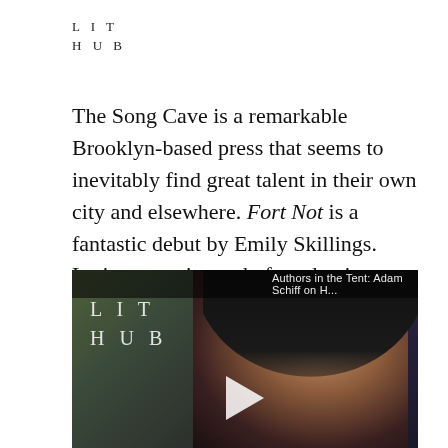LIT
HUB
The Song Cave is a remarkable Brooklyn-based press that seems to inevitably find great talent in their own city and elsewhere. Fort Not is a fantastic debut by Emily Skillings. Lyric poetry instead of academic polemic is underrated these days, and Skillings delivers a hazy, magical mystery tour.
[Figure (screenshot): Video thumbnail showing a woman with dark bangs looking down, with Lit Hub logo on the left and a play button in the center. Top bar reads: Authors in the Tent: Adam Schiff on H...]